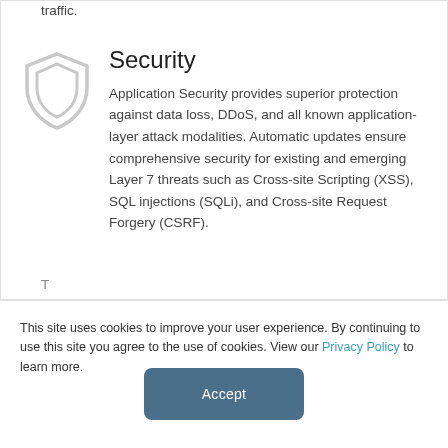traffic.
Security
Application Security provides superior protection against data loss, DDoS, and all known application-layer attack modalities. Automatic updates ensure comprehensive security for existing and emerging Layer 7 threats such as Cross-site Scripting (XSS), SQL injections (SQLi), and Cross-site Request Forgery (CSRF).
This site uses cookies to improve your user experience. By continuing to use this site you agree to the use of cookies. View our Privacy Policy to learn more.
Accept